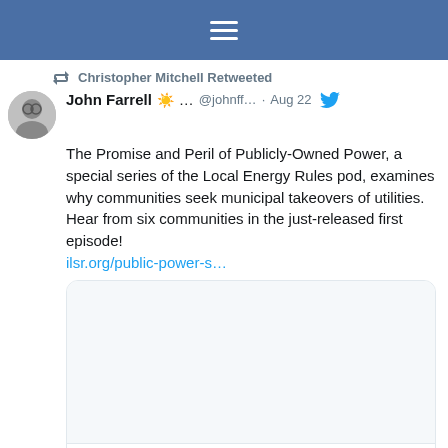[Figure (screenshot): Twitter/social media app header bar with hamburger menu icon]
Christopher Mitchell Retweeted
John Farrell ☀️ … @johnff… · Aug 22
The Promise and Peril of Publicly-Owned Power, a special series of the Local Energy Rules pod, examines why communities seek municipal takeovers of utilities. Hear from six communities in the just-released first episode! ilsr.org/public-power-s…
[Figure (screenshot): Embedded link card showing ilsr.org with image area and title: Public Power Pt. 1: Why Take Over? —]